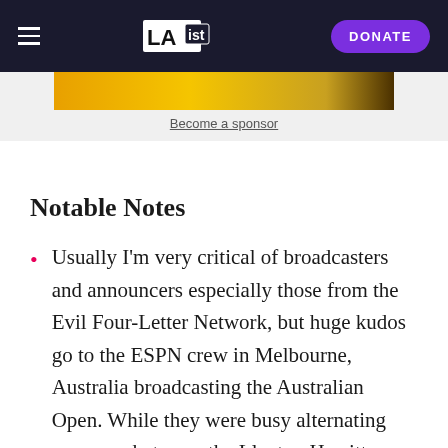LAist | DONATE
[Figure (other): Sponsor banner image with gold/yellow gradient background]
Become a sponsor
Notable Notes
Usually I'm very critical of broadcasters and announcers especially those from the Evil Four-Letter Network, but huge kudos go to the ESPN crew in Melbourne, Australia broadcasting the Australian Open. While they were busy alternating coverage between the Lleyton Hewitt-Fernando Gonzalez and Venus Williams-Amelie...